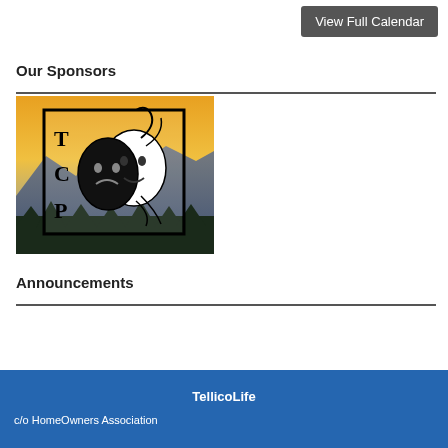View Full Calendar
Our Sponsors
[Figure (logo): TCP theatre logo: comedy/tragedy masks over mountain landscape with letters T, C, P]
Announcements
TellicoLife
c/o HomeOwners Association